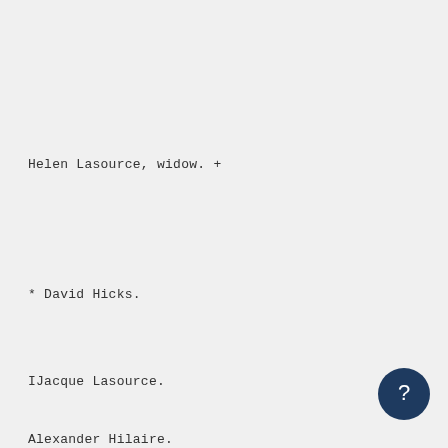Helen Lasource, widow. +
* David Hicks.
IJacque Lasource.
Alexander Hilaire.
Ambroise Lavigne.